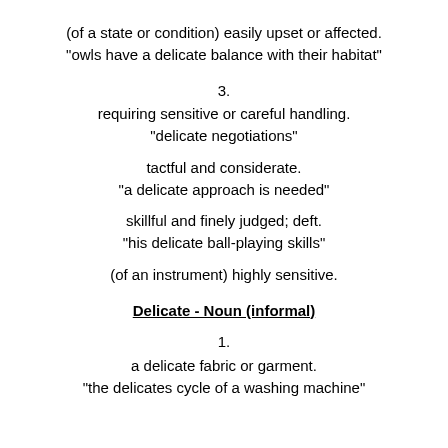(of a state or condition) easily upset or affected.
"owls have a delicate balance with their habitat"
3.
requiring sensitive or careful handling.
"delicate negotiations"
tactful and considerate.
"a delicate approach is needed"
skillful and finely judged; deft.
"his delicate ball-playing skills"
(of an instrument) highly sensitive.
Delicate - Noun (informal)
1.
a delicate fabric or garment.
"the delicates cycle of a washing machine"